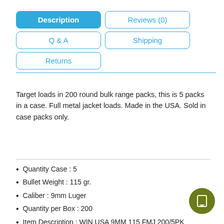Description | Reviews (0) | Q & A | Shipping | Returns
Target loads in 200 round bulk range packs, this is 5 packs in a case. Full metal jacket loads. Made in the USA. Sold in case packs only.
Quantity Case : 5
Bullet Weight : 115 gr.
Caliber : 9mm Luger
Quantity per Box : 200
Item Description : WIN USA 9MM 115 FMJ 200/5PK
Bullet Style : FMJ